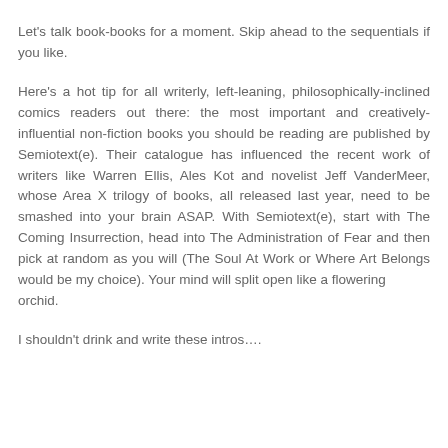Let's talk book-books for a moment. Skip ahead to the sequentials if you like.
Here's a hot tip for all writerly, left-leaning, philosophically-inclined comics readers out there: the most important and creatively-influential non-fiction books you should be reading are published by Semiotext(e). Their catalogue has influenced the recent work of writers like Warren Ellis, Ales Kot and novelist Jeff VanderMeer, whose Area X trilogy of books, all released last year, need to be smashed into your brain ASAP. With Semiotext(e), start with The Coming Insurrection, head into The Administration of Fear and then pick at random as you will (The Soul At Work or Where Art Belongs would be my choice). Your mind will split open like a flowering
orchid.
I shouldn't drink and write these intros….